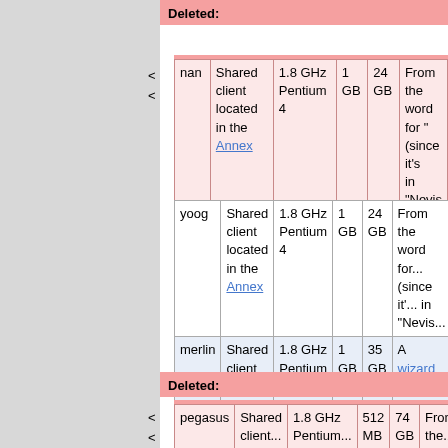Deleted:
| nan | description | cpu | ram | disk | notes |
| --- | --- | --- | --- | --- | --- |
| nan | Shared client located in the Annex | 1.8 GHz Pentium 4 | 1 GB | 24 GB | From the word for "..." (since it's in "Nevis ... |
| name | description | cpu | ram | disk | notes |
| --- | --- | --- | --- | --- | --- |
| yoog | Shared client located in the Annex | 1.8 GHz Pentium 4 | 1 GB | 24 GB | From the word for... (since it'... in "Nevis... |
| merlin | Shared client located in the Annex | 1.8 GHz Pentium 4 | 1 GB | 35 GB | A wizard... was the... to King A... |
Deleted:
| name | description | cpu | ram | disk | notes |
| --- | --- | --- | --- | --- | --- |
| pegasus | Shared client... | 1.8 GHz Pentium... | 512 MB | 74 GB | From the... |